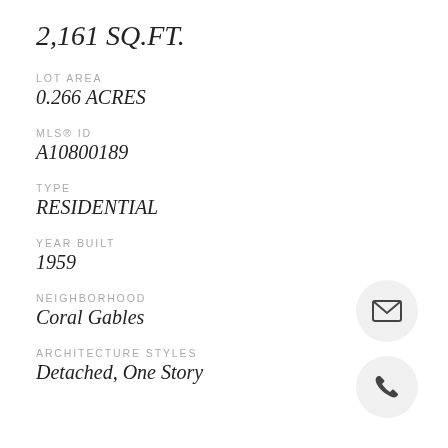2,161 SQ.FT.
LOT AREA
0.266 ACRES
MLS® ID
A10800189
TYPE
RESIDENTIAL
YEAR BUILT
1959
NEIGHBORHOOD
Coral Gables
ARCHITECTURE STYLES
Detached, One Story